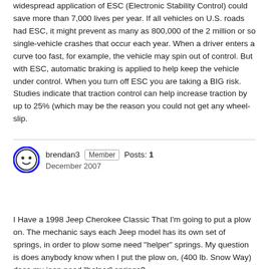widespread application of ESC (Electronic Stability Control) could save more than 7,000 lives per year. If all vehicles on U.S. roads had ESC, it might prevent as many as 800,000 of the 2 million or so single-vehicle crashes that occur each year. When a driver enters a curve too fast, for example, the vehicle may spin out of control. But with ESC, automatic braking is applied to help keep the vehicle under control. When you turn off ESC you are taking a BIG risk. Studies indicate that traction control can help increase traction by up to 25% (which may be the reason you could not get any wheel-slip.
brendan3  Member  Posts: 1  December 2007
I Have a 1998 Jeep Cherokee Classic That I'm going to put a plow on. The mechanic says each Jeep model has its own set of springs, in order to plow some need "helper" springs. My question is does anybody know when I put the plow on, (400 lb. Snow Way) does my jeep need "helper" springs?